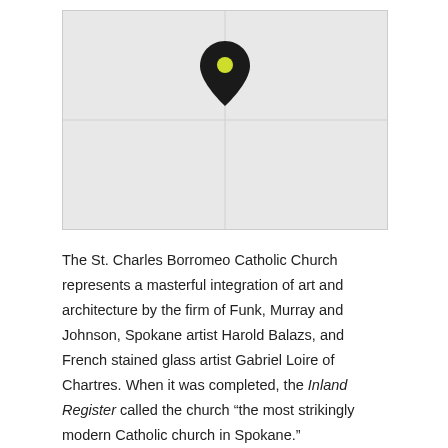[Figure (map): A simple grey map with a single black and yellow-green location pin marker positioned near the upper-center of the map area.]
The St. Charles Borromeo Catholic Church represents a masterful integration of art and architecture by the firm of Funk, Murray and Johnson, Spokane artist Harold Balazs, and French stained glass artist Gabriel Loire of Chartres. When it was completed, the Inland Register called the church “the most strikingly modern Catholic church in Spokane.”